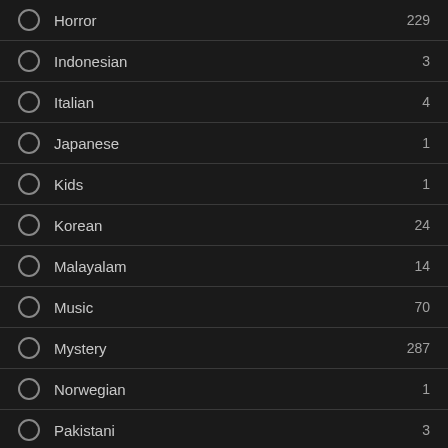Horror — 229
Indonesian — 3
Italian — 4
Japanese — 1
Kids — 1
Korean — 24
Malayalam — 14
Music — 70
Mystery — 287
Norwegian — 1
Pakistani — 3